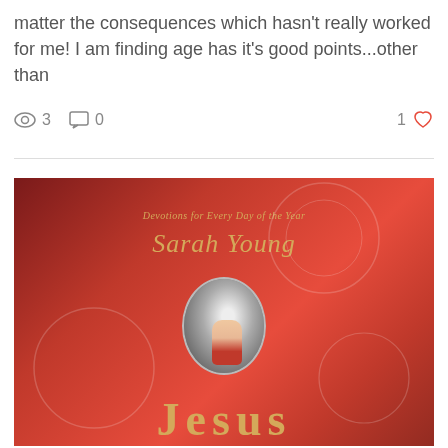matter the consequences which hasn't really worked for me! I am finding age has it's good points...other than
3 views  0 comments  1 like
[Figure (photo): Book cover of 'Jesus Calling' by Sarah Young — red hardcover book with subtitle 'Devotions for Every Day of the Year', author name in gold italic script, and an oval portrait image in the center showing a hand holding a candle flame.]